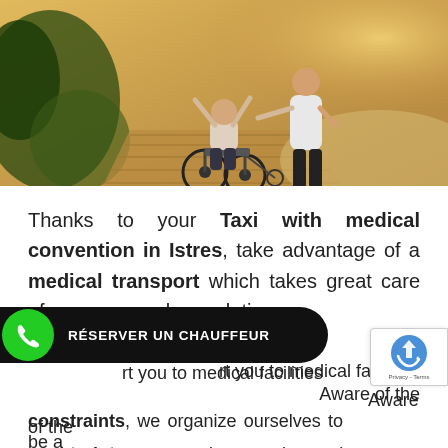[Figure (photo): Person in wheelchair with arms raised, accompanied by a standing person beside them on a wooden boardwalk path outdoors with warm sunset lighting.]
Thanks to your Taxi with medical convention in Istres, take advantage of a medical transport which takes great care of you or your close relations.
Our drivers transport you to medical facilities ... Aware of the medical constraints, we organize ourselves to be a...